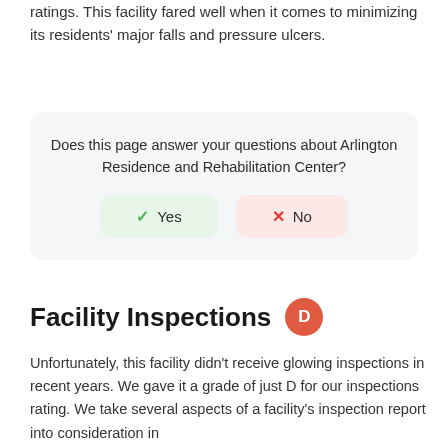ratings. This facility fared well when it comes to minimizing its residents' major falls and pressure ulcers.
Does this page answer your questions about Arlington Residence and Rehabilitation Center?
Yes
No
Facility Inspections D
Unfortunately, this facility didn't receive glowing inspections in recent years. We gave it a grade of just D for our inspections rating. We take several aspects of a facility's inspection report into consideration in